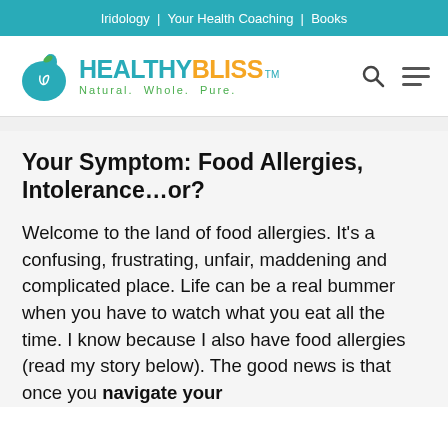Iridology | Your Health Coaching | Books
[Figure (logo): Healthy Bliss logo with teal apple icon, HEALTHY in teal bold text, BLISS in orange bold text, TM superscript, tagline Natural. Whole. Pure. in green]
Your Symptom: Food Allergies, Intolerance…or?
Welcome to the land of food allergies. It's a confusing, frustrating, unfair, maddening and complicated place. Life can be a real bummer when you have to watch what you eat all the time. I know because I also have food allergies (read my story below). The good news is that once you navigate your